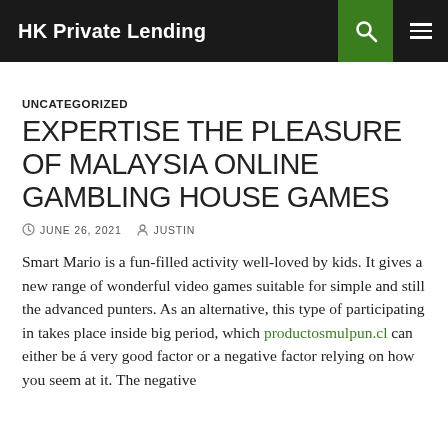HK Private Lending
UNCATEGORIZED
EXPERTISE THE PLEASURE OF MALAYSIA ONLINE GAMBLING HOUSE GAMES
JUNE 26, 2021   JUSTIN
Smart Mario is a fun-filled activity well-loved by kids. It gives a new range of wonderful video games suitable for simple and still the advanced punters. As an alternative, this type of participating in takes place inside big period, which productosmulpun.cl can either be á very good factor or a negative factor relying on how you seem at it. The negative